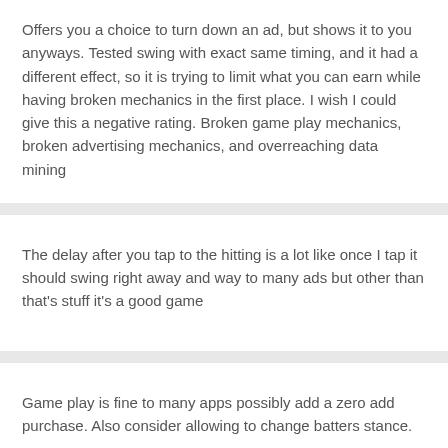Offers you a choice to turn down an ad, but shows it to you anyways. Tested swing with exact same timing, and it had a different effect, so it is trying to limit what you can earn while having broken mechanics in the first place. I wish I could give this a negative rating. Broken game play mechanics, broken advertising mechanics, and overreaching data mining
The delay after you tap to the hitting is a lot like once I tap it should swing right away and way to many ads but other than that's stuff it's a good game
Game play is fine to many apps possibly add a zero add purchase. Also consider allowing to change batters stance.